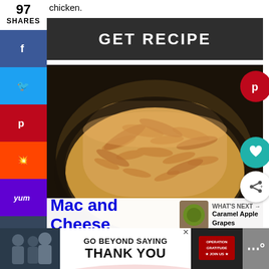chicken.
[Figure (other): Dark button with white bold text reading GET RECIPE]
97
SHARES
[Figure (photo): Close-up photo of a bowl of mac and cheese topped with crispy fried onions on a dark background]
Mac and Cheese
WHAT'S NEXT → Caramel Apple Grapes
[Figure (photo): Ad banner: GO BEYOND SAYING THANK YOU - Operation Gratitude JOIN US]